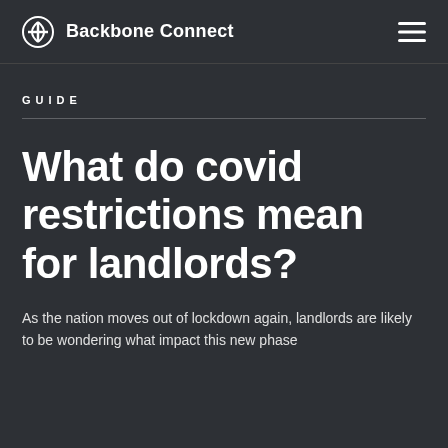Backbone Connect
GUIDE
What do covid restrictions mean for landlords?
As the nation moves out of lockdown again, landlords are likely to be wondering what impact this new phase